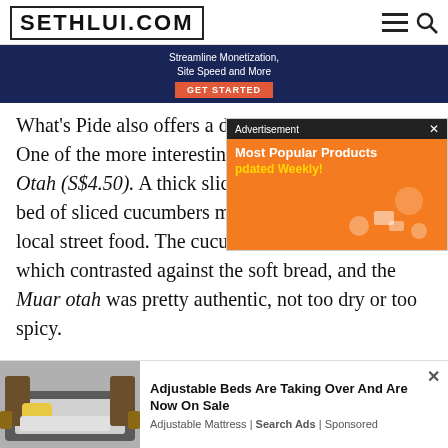SETHLUI.COM
[Figure (screenshot): Dark blue advertisement banner with 'Streamline Monetization, Site Speed and More' text and orange GET STARTED button]
[Figure (screenshot): Orange advertisement popup overlay with header 'Advertisement x', title 'Most Popular Products', subtitle 'pdated Weekly!' and orange background with illustrated shopping icons]
What's Pide also offers a deli One of the more interesting Otah (S$4.50). A thick slice of bed of sliced cucumbers made for a unique spin on local street food. The cucumber added some crunch which contrasted against the soft bread, and the Muar otah was pretty authentic, not too dry or too spicy.
[Figure (screenshot): Bottom advertisement: adjustable bed photo with text 'Adjustable Beds Are Taking Over And Are Now On Sale' from Adjustable Mattress Search Ads Sponsored]